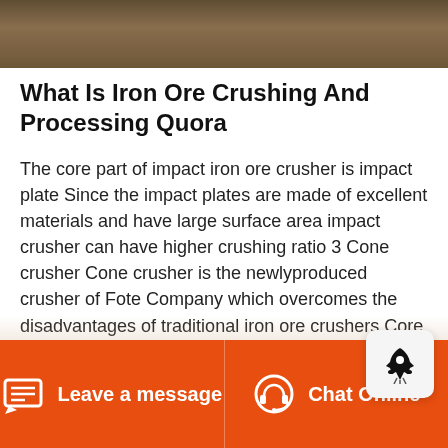[Figure (photo): Industrial machinery or mining equipment, partially visible at the top of the page as a dark banner image.]
What Is Iron Ore Crushing And Processing Quora
The core part of impact iron ore crusher is impact plate Since the impact plates are made of excellent materials and have large surface area impact crusher can have higher crushing ratio 3 Cone crusher Cone crusher is the newlyproduced crusher of Fote Company which overcomes the disadvantages of traditional iron ore crushers Core Competencies in the realm of Iron Ore Processing Rich exposure Operations R D in the domain of Iron Ore processing Rich experience in Crushing Grinding Degree grinding size
Leave a message  Chat Online